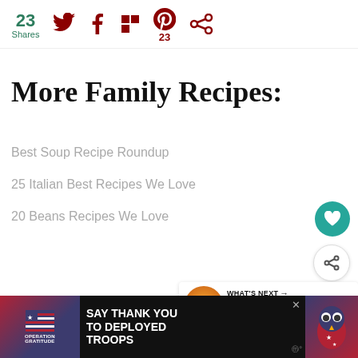23 Shares | Social share icons: Twitter, Facebook, Flipboard, Pinterest (23), other
More Family Recipes:
Best Soup Recipe Roundup
25 Italian Best Recipes We Love
20 Beans Recipes We Love
[Figure (infographic): What's Next widget showing a bowl of Escarole Soup thumbnail with text 'WHAT'S NEXT → Escarole Soup with...']
[Figure (infographic): Advertisement banner: Operation Gratitude - SAY THANK YOU TO DEPLOYED TROOPS with patriotic imagery and mascot owl]